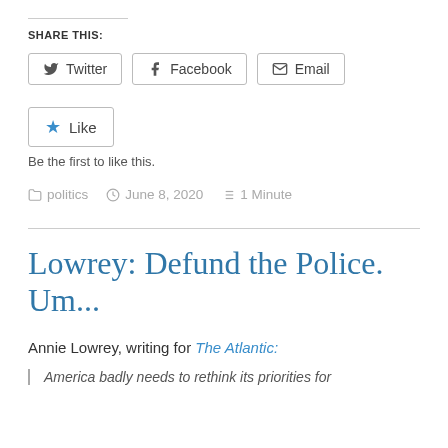Share this:
Twitter   Facebook   Email
Like
Be the first to like this.
politics   June 8, 2020   1 Minute
Lowrey: Defund the Police. Um...
Annie Lowrey, writing for The Atlantic:
America badly needs to rethink its priorities for